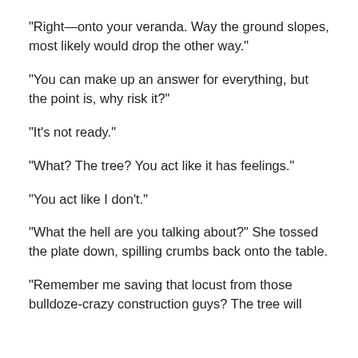“Right—onto your veranda. Way the ground slopes, most likely would drop the other way.”
“You can make up an answer for everything, but the point is, why risk it?”
“It’s not ready.”
“What? The tree? You act like it has feelings.”
“You act like I don’t.”
“What the hell are you talking about?” She tossed the plate down, spilling crumbs back onto the table.
“Remember me saving that locust from those bulldoze-crazy construction guys? The tree will